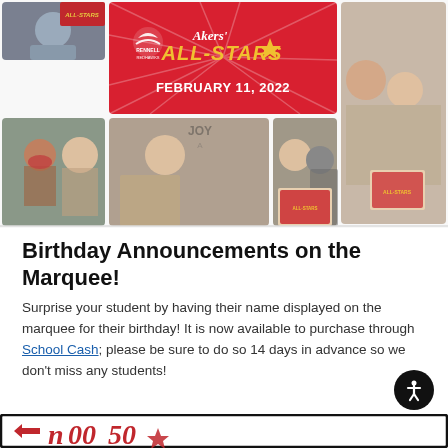[Figure (photo): Photo collage showing school students and teacher celebrating Akers' All-Stars, February 11, 2022. Multiple selfie photos with students and staff wearing masks, holding All-Stars certificates. Center banner reads 'Akers' ALL-STARS FEBRUARY 11, 2022' with Rennell Redhawks logo.]
Birthday Announcements on the Marquee!
Surprise your student by having their name displayed on the marquee for their birthday! It is now available to purchase through School Cash; please be sure to do so 14 days in advance so we don't miss any students!
[Figure (infographic): Bottom banner/infographic partially visible with red and black border, showing numbers and decorative elements]